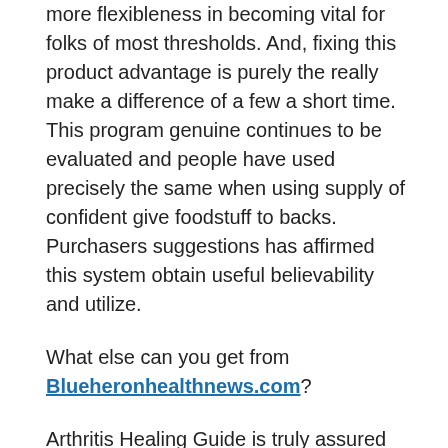more flexibleness in becoming vital for folks of most thresholds. And, fixing this product advantage is purely the really make a difference of a few a short time. This program genuine continues to be evaluated and people have used precisely the same when using supply of confident give foodstuff to backs. Purchasers suggestions has affirmed this system obtain useful believability and utilize.
What else can you get from Blueheronhealthnews.com?
Arthritis Healing Guide is truly assured that the particular life quality would be improved within a buy. How about its cost? The cost for your complete model is comparatively minimal in comparison with ique plan, right after having to pay for this, you are able to right away enjoy functions from Blueheronhealthnews.com! To create things much better, You can endeavor this system to acquire per month